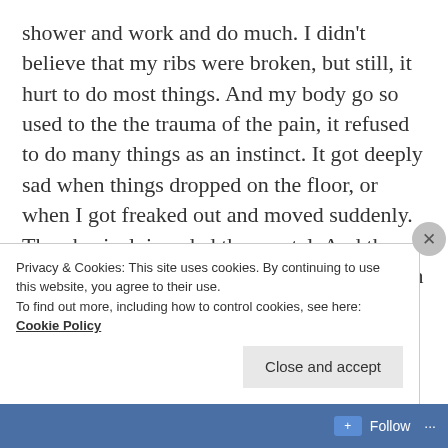shower and work and do much. I didn't believe that my ribs were broken, but still, it hurt to do most things. And my body go so used to the the trauma of the pain, it refused to do many things as an instinct. It got deeply sad when things dropped on the floor, or when I got freaked out and moved suddenly. The physical, invaded the mental. And the hopelessness of the slow healing, impeded on my sense of a greater tomorrow.

Rewind the tape a few millennia. You live in an anarchic town, filled with people convinced that no
Privacy & Cookies: This site uses cookies. By continuing to use this website, you agree to their use.
To find out more, including how to control cookies, see here: Cookie Policy
Close and accept
Follow ···